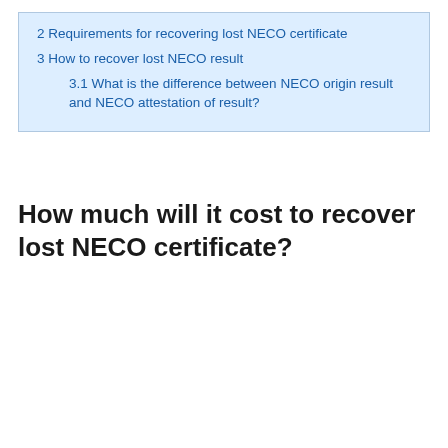2 Requirements for recovering lost NECO certificate
3 How to recover lost NECO result
3.1 What is the difference between NECO origin result and NECO attestation of result?
How much will it cost to recover lost NECO certificate?